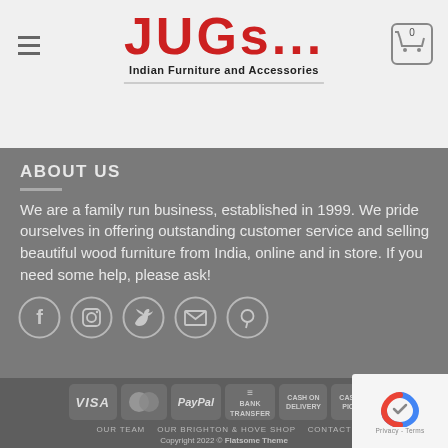[Figure (logo): JUGs... Indian Furniture and Accessories logo with red text and hamburger menu icon and cart icon]
ABOUT US
We are a family run business, established in 1999. We pride ourselves in offering outstanding customer service and selling beautiful wood furniture from India, online and in store. If you need some help, please ask!
[Figure (infographic): Social media icons: Facebook, Instagram, Twitter, Email, Pinterest]
[Figure (infographic): Payment method badges: VISA, MasterCard, PayPal, Bank Transfer, Cash on Delivery, Cash on Pickup]
OUR TEAM   OUR BRIGHTON & HOVE SHOP   CONTACT
Copyright 2022 © Flatsome Theme